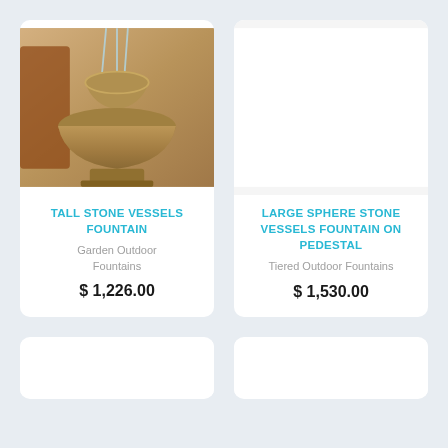[Figure (photo): Tall stone vessels fountain product photo showing a bowl-shaped fountain with water flowing]
TALL STONE VESSELS FOUNTAIN
Garden Outdoor Fountains
$ 1,226.00
LARGE SPHERE STONE VESSELS FOUNTAIN ON PEDESTAL
Tiered Outdoor Fountains
$ 1,530.00